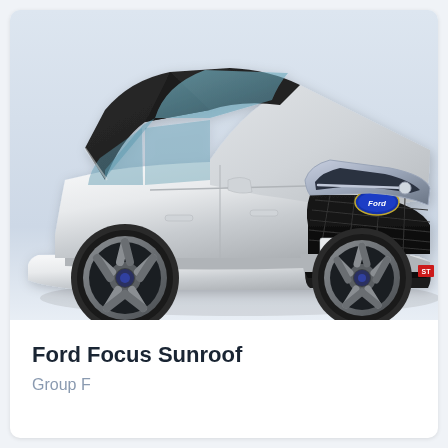[Figure (photo): A silver Ford Focus ST hatchback photographed from a front three-quarter angle on a white/light grey background. The car is silver with black roof, prominent front grille with Ford oval badge, and alloy wheels. A 'FOCUS' badge is visible on the front bumper area.]
Ford Focus Sunroof
Group F